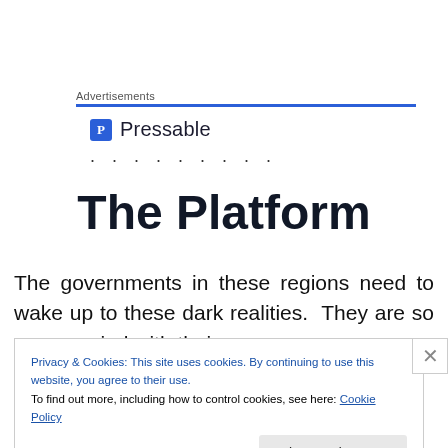Advertisements
[Figure (logo): Pressable logo with blue square icon containing 'P' and the word 'Pressable' in dark text, followed by a row of dots]
The Platform
The governments in these regions need to wake up to these dark realities.  They are so preoccupied with their
Privacy & Cookies: This site uses cookies. By continuing to use this website, you agree to their use.
To find out more, including how to control cookies, see here: Cookie Policy
Close and accept